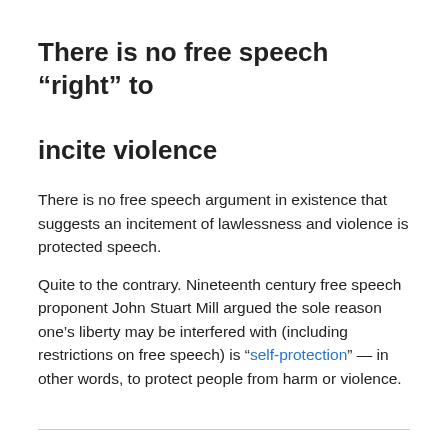There is no free speech “right” to incite violence
There is no free speech argument in existence that suggests an incitement of lawlessness and violence is protected speech.
Quite to the contrary. Nineteenth century free speech proponent John Stuart Mill argued the sole reason one’s liberty may be interfered with (including restrictions on free speech) is “self-protection” — in other words, to protect people from harm or violence.